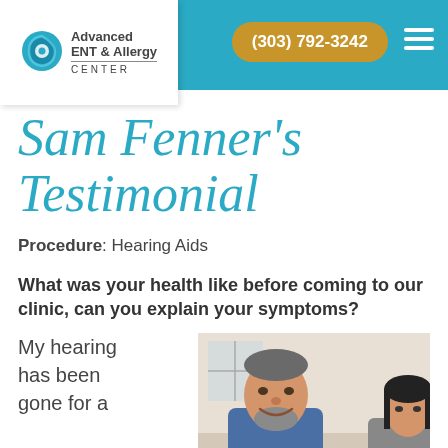Advanced ENT & Allergy CENTER — (303) 792-3242
Sam Fenner's Testimonial
Procedure: Hearing Aids
What was your health like before coming to our clinic, can you explain your symptoms?
My hearing has been gone for a
[Figure (photo): Photo of a smiling middle-aged man with gray beard wearing a blue shirt, with a woman partially visible beside him, in an indoor clinical setting.]